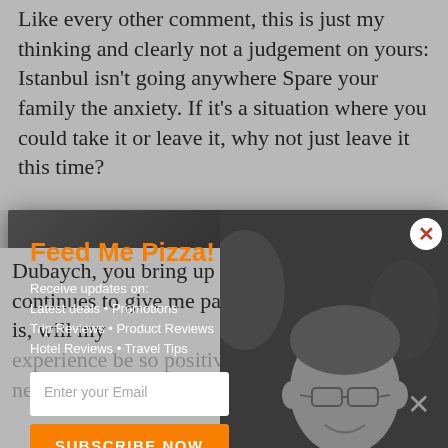Like every other comment, this is just my thinking and clearly not a judgement on yours: Istanbul isn't going anywhere Spare your family the anxiety. If it's a situation where you could take it or leave it, why not just leave it this time?
[Figure (screenshot): Email subscription modal popup with 'Feed Me Pizza!' title in orange, subscription options listing latest deals, promotions, trip reviews, product reviews, hotel reviews and travel tips, email input field, orange SUBSCRIBE NOW button, No Thanks link, and a grayscale photo of a smiling man with glasses in the background. Red X close button in top right corner.]
Dubaych, you bring up the one item that continues to give me pause. As great as Istanbul is, will my experience be so positive as to outweigh my negative